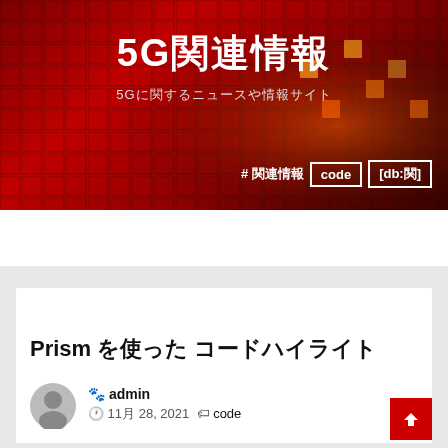[Figure (screenshot): Website banner with dark red grid pattern background, white bold title '5G関連情報', subtitle '5Gに関するニュースや情報サイト', and navigation tags '#関連情報', 'code', '[db:関]']
5G関連情報 | 5Gに関するニュースや情報サイト
Prism を使ったコードハイライト
🐾 admin  🕐 11月 28, 2021 🏷 code